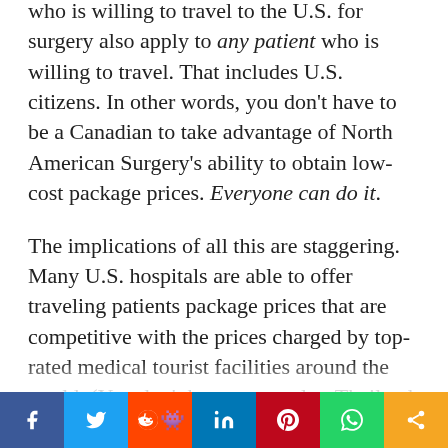who is willing to travel to the U.S. for surgery also apply to any patient who is willing to travel. That includes U.S. citizens. In other words, you don't have to be a Canadian to take advantage of North American Surgery's ability to obtain low-cost package prices. Everyone can do it.
The implications of all this are staggering. Many U.S. hospitals are able to offer traveling patients package prices that are competitive with the prices charged by top-rated medical tourist facilities around the world. (You don't have to travel to Thailand, after all.) However I would insert this note of caution: Although a hospital with excess capacity gains by charging the marginal customer the marginal cost of care, it may not cover the full